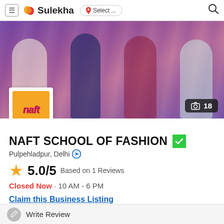Sulekha — Select ... [navigation bar]
[Figure (photo): Hero banner photo showing fashion models on stage with a silver/purple curtain backdrop. A white logo box with NAFT in pink/magenta italic text on an orange background is overlaid at the bottom left. A photo count badge shows a camera icon and '18' at the bottom right.]
NAFT SCHOOL OF FASHION
Pulpehladpur, Delhi
5.0/5 Based on 1 Reviews
Closed Now · 10 AM - 6 PM
Claim this Business Listing
Write Review